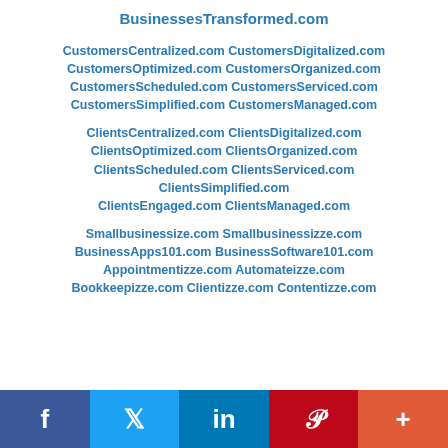BusinessesTransformed.com
CustomersCentralized.com CustomersDigitalized.com CustomersOptimized.com CustomersOrganized.com CustomersScheduled.com CustomersServiced.com CustomersSimplified.com CustomersManaged.com
ClientsCentralized.com ClientsDigitalized.com ClientsOptimized.com ClientsOrganized.com ClientsScheduled.com ClientsServiced.com ClientsSimplified.com ClientsEngaged.com ClientsManaged.com
Smallbusinessize.com Smallbusinessizze.com BusinessApps101.com BusinessSoftware101.com Appointmentizze.com Automateizze.com Bookkeepizze.com Clientizze.com Contentizze.com
f  Twitter  in  Pinterest  +